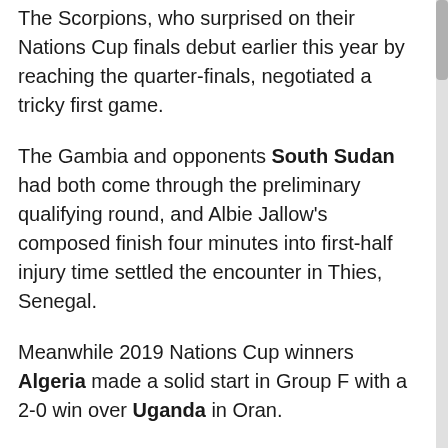The Scorpions, who surprised on their Nations Cup finals debut earlier this year by reaching the quarter-finals, negotiated a tricky first game.
The Gambia and opponents South Sudan had both come through the preliminary qualifying round, and Albie Jallow's composed finish four minutes into first-half injury time settled the encounter in Thies, Senegal.
Meanwhile 2019 Nations Cup winners Algeria made a solid start in Group F with a 2-0 win over Uganda in Oran.
Farouk Miya missed the chance to equalise from the penalty spot soon after Villarreal defender Aissa Mandi had put the Desert Foxes ahead in the 28th